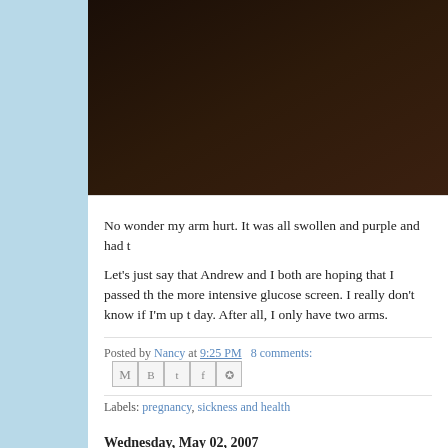[Figure (photo): Dark brownish-black image, appears to be a dimly lit or underexposed photograph taking up the top portion of the blog post content area.]
No wonder my arm hurt. It was all swollen and purple and had t
Let's just say that Andrew and I both are hoping that I passed th the more intensive glucose screen. I really don't know if I'm up t day. After all, I only have two arms.
Posted by Nancy at 9:25 PM   8 comments:
Labels: pregnancy, sickness and health
Wednesday, May 02, 2007